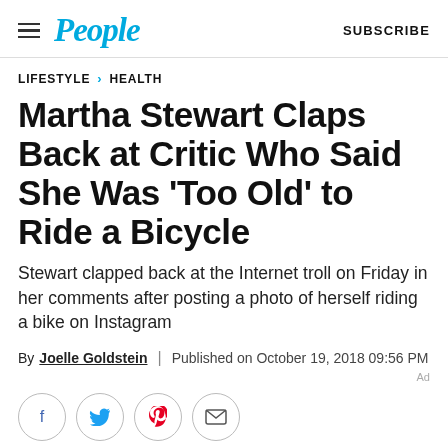People | SUBSCRIBE
LIFESTYLE > HEALTH
Martha Stewart Claps Back at Critic Who Said She Was 'Too Old' to Ride a Bicycle
Stewart clapped back at the Internet troll on Friday in her comments after posting a photo of herself riding a bike on Instagram
By Joelle Goldstein | Published on October 19, 2018 09:56 PM
[Figure (infographic): Social sharing buttons: Facebook, Twitter, Pinterest, Email]